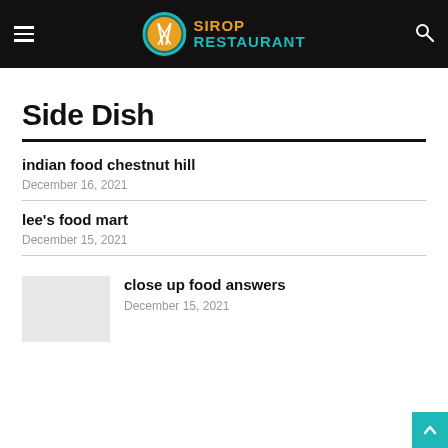SIROP RESTAURANT
Side Dish
indian food chestnut hill
December 16, 2021
lee's food mart
December 15, 2021
close up food answers
December 15, 2021